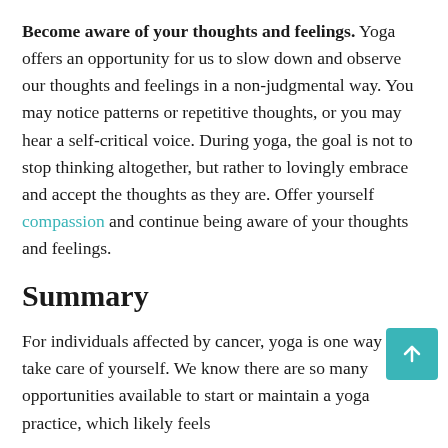Become aware of your thoughts and feelings. Yoga offers an opportunity for us to slow down and observe our thoughts and feelings in a non-judgmental way. You may notice patterns or repetitive thoughts, or you may hear a self-critical voice. During yoga, the goal is not to stop thinking altogether, but rather to lovingly embrace and accept the thoughts as they are. Offer yourself compassion and continue being aware of your thoughts and feelings.
Summary
For individuals affected by cancer, yoga is one way to take care of yourself. We know there are so many opportunities available to start or maintain a yoga practice, which likely feels